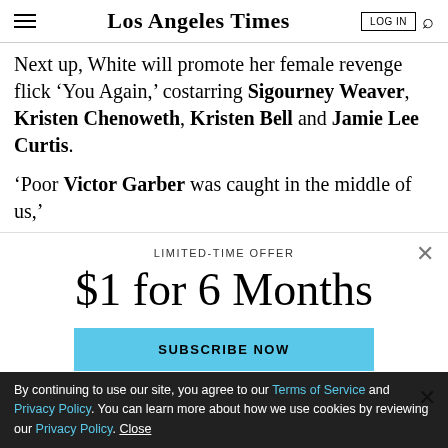Los Angeles Times
Next up, White will promote her female revenge flick ‘You Again,’ costarring Sigourney Weaver, Kristen Chenoweth, Kristen Bell and Jamie Lee Curtis.
‘Poor Victor Garber was caught in the middle of us,’
LIMITED-TIME OFFER
$1 for 6 Months
SUBSCRIBE NOW
By continuing to use our site, you agree to our Terms of Service and Privacy Policy. You can learn more about how we use cookies by reviewing our Privacy Policy. Close